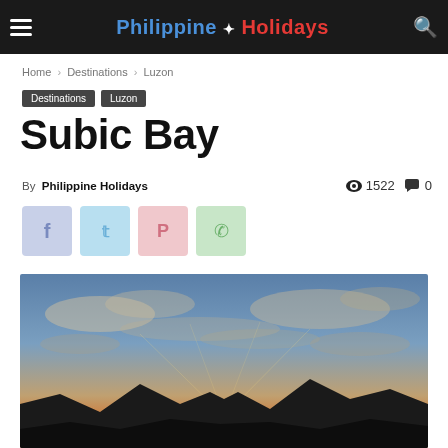Philippine Holidays
Home › Destinations › Luzon
Destinations  Luzon
Subic Bay
By Philippine Holidays  1522  0
[Figure (photo): Sunset over Subic Bay with silhouetted mountains and dramatic cloudy sky with orange and blue tones]